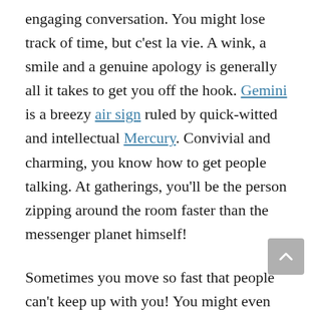engaging conversation. You might lose track of time, but c'est la vie. A wink, a smile and a genuine apology is generally all it takes to get you off the hook. Gemini is a breezy air sign ruled by quick-witted and intellectual Mercury. Convivial and charming, you know how to get people talking. At gatherings, you'll be the person zipping around the room faster than the messenger planet himself!
Sometimes you move so fast that people can't keep up with you! You might even get a rap for your short attention span; or be accused of (glug) superficiality. The truth is, this inquisitive rising sign makes you highly distractible. So much piques your curious nature that it's hard to know where to focus when you're stimulated. Watch out for a tendency to be manipulative. You like to get your way, but